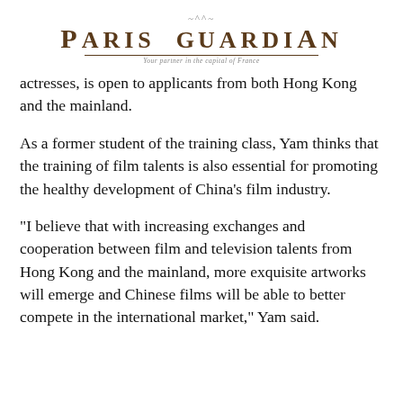PARIS GUARDIAN
Your partner in the capital of France
actresses, is open to applicants from both Hong Kong and the mainland.
As a former student of the training class, Yam thinks that the training of film talents is also essential for promoting the healthy development of China's film industry.
"I believe that with increasing exchanges and cooperation between film and television talents from Hong Kong and the mainland, more exquisite artworks will emerge and Chinese films will be able to better compete in the international market," Yam said.